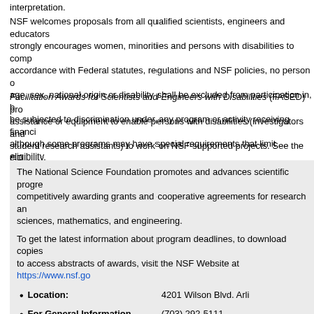interpretation.
NSF welcomes proposals from all qualified scientists, engineers and educators and strongly encourages women, minorities and persons with disabilities to compete. In accordance with Federal statutes, regulations and NSF policies, no person on grounds of age, sex, national origin or disability shall be excluded from participation in, be denied the benefits of, or be subjected to discrimination under any program or activity receiving financial assistance from NSF, although some programs may have special requirements that limit eligibility.
Facilitation Awards for Scientists and Engineers with Disabilities (FASED) provide funding for special assistance or equipment to enable persons with disabilities (investigators and other staff, including student research assistants) to work on NSF-supported projects. See the GPG Chapter II.E.6 for instructions regarding preparation of these types of proposals.
The National Science Foundation promotes and advances scientific progress in the United States by competitively awarding grants and cooperative agreements for research and education in the sciences, mathematics, and engineering.
To get the latest information about program deadlines, to download copies of NSF publications, and to access abstracts of awards, visit the NSF Website at https://www.nsf.gov
Location: 4201 Wilson Blvd. Arlington, VA 22230
For General Information (NSF Information Center): (703) 292-5111
TDD (for the hearing-impaired): (703) 292-5090
To Order Publications or Forms:
Send an e-mail to: pubs@nsf.gov